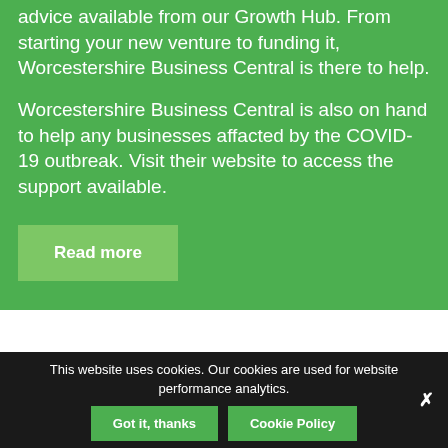advice available from our Growth Hub. From starting your new venture to funding it, Worcestershire Business Central is there to help.
Worcestershire Business Central is also on hand to help any businesses affacted by the COVID-19 outbreak. Visit their website to access the support available.
Read more
This website uses cookies. Our cookies are used for website performance analytics.
Got it, thanks
Cookie Policy